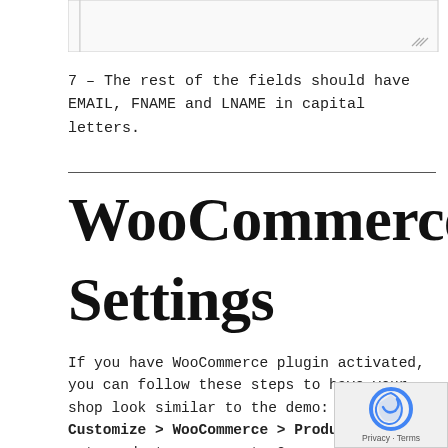[Figure (screenshot): Top portion of a text input field with border and resize handle visible]
7 – The rest of the fields should have EMAIL, FNAME and LNAME in capital letters.
WooCommerce Settings
If you have WooCommerce plugin activated, you can follow these steps to have your shop look similar to the demo: – In Customize > WooCommerce > Product Catalog, set products per row to 2.